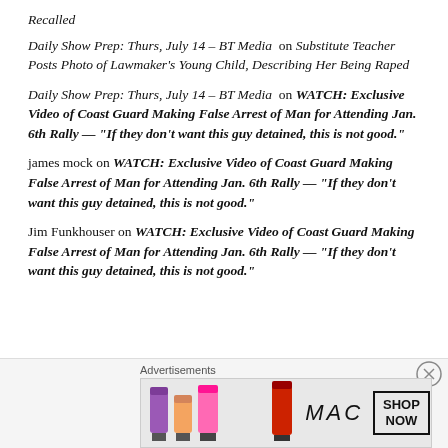Recalled
Daily Show Prep: Thurs, July 14 – BT Media on Substitute Teacher Posts Photo of Lawmaker's Young Child, Describing Her Being Raped
Daily Show Prep: Thurs, July 14 – BT Media on WATCH: Exclusive Video of Coast Guard Making False Arrest of Man for Attending Jan. 6th Rally — “If they don’t want this guy detained, this is not good.”
james mock on WATCH: Exclusive Video of Coast Guard Making False Arrest of Man for Attending Jan. 6th Rally — “If they don’t want this guy detained, this is not good.”
Jim Funkhouser on WATCH: Exclusive Video of Coast Guard Making False Arrest of Man for Attending Jan. 6th Rally — “If they don’t want this guy detained, this is not good.”
[Figure (infographic): MAC cosmetics advertisement banner showing lipsticks and SHOP NOW button]